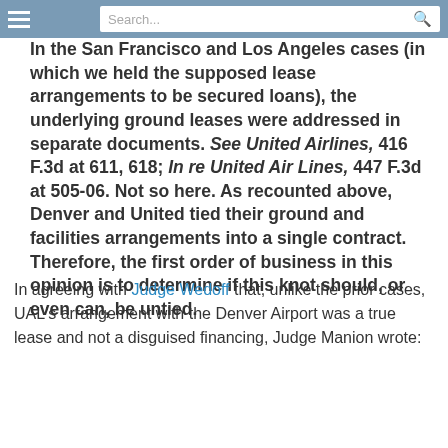Search...
In the San Francisco and Los Angeles cases (in which we held the supposed lease arrangements to be secured loans), the underlying ground leases were addressed in separate documents. See United Airlines, 416 F.3d at 611, 618; In re United Air Lines, 447 F.3d at 505-06. Not so here. As recounted above, Denver and United tied their ground and facilities arrangements into a single contract. Therefore, the first order of business in this opinion is to determine if this knot should, or even can, be untied.
In agreeing with Judge Wedoff that, unlike the prior cases, UAL's arrangement with the Denver Airport was a true lease and not a disguised financing, Judge Manion wrote: